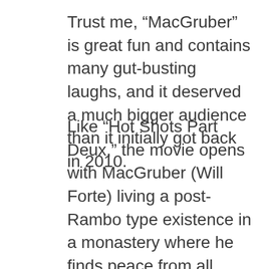Trust me, “MacGruber” is great fun and contains many gut-busting laughs, and it deserved a much bigger audience than it initially got back in 2010.
Like “Hot Shots Part Deux,” the movie opens with MacGruber (Will Forte) living a post-Rambo type existence in a monastery where he finds peace from all things explosive. But Col. Jim Faith (the late Powers Boothe) brings him back into service when it is discovered his old nemesis, Dieter Von Cunth (Val Kilmer gone wild), has acquired the X-5 nuclear missile and threatens to use it on a highly valuable target primed for utter destruction. Dieter also turns out to be the same man responsible for